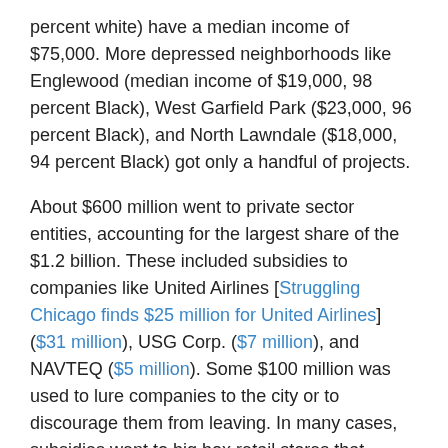percent white) have a median income of $75,000. More depressed neighborhoods like Englewood (median income of $19,000, 98 percent Black), West Garfield Park ($23,000, 96 percent Black), and North Lawndale ($18,000, 94 percent Black) got only a handful of projects.
About $600 million went to private sector entities, accounting for the largest share of the $1.2 billion. These included subsidies to companies like United Airlines [Struggling Chicago finds $25 million for United Airlines] ($31 million), USG Corp. ($7 million), and NAVTEQ ($5 million). Some $100 million was used to lure companies to the city or to discourage them from leaving. In many cases, subsidies went to big box retail stores that supplanted small businesses. Target received at least $18.5 million at five locations throughout the city.